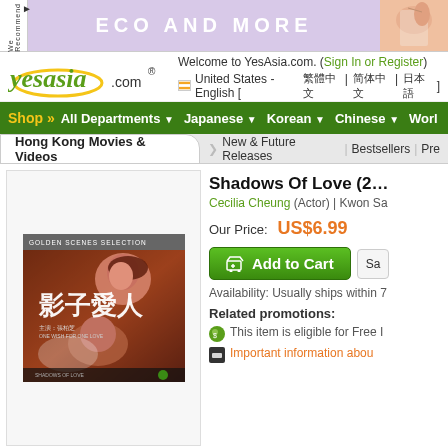[Figure (screenshot): YesAsia.com website screenshot showing ECO AND MORE banner ad, site logo, navigation bar, and product page for 'Shadows Of Love' DVD featuring Cecilia Cheung, priced at US$6.99]
ECO AND MORE
[Figure (logo): yesasia.com logo with yellow ellipse]
Welcome to YesAsia.com. (Sign In or Register)
United States - English [ 繁體中文 | 简体中文 | 日本語 ]
Shop » All Departments ▼ Japanese ▼ Korean ▼ Chinese ▼ Worl
Hong Kong Movies & Videos | New & Future Releases | Bestsellers | Pre
Shadows Of Love (2...
Cecilia Cheung (Actor) | Kwon Sa
Our Price: US$6.99
Add to Cart
Availability: Usually ships within 7
Related promotions:
This item is eligible for Free I
Important information abou